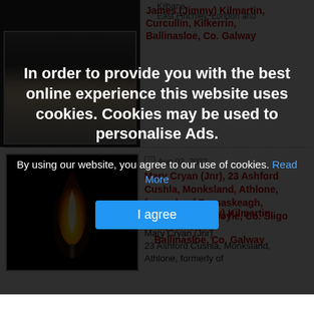[Figure (screenshot): Cookie consent overlay on a news/obituary website. Shows bold white text on dark background: 'In order to provide you with the best online experience this website uses cookies. Cookies may be used to personalise Ads.' with a 'Read More' link and 'I agree' blue button.]
James (Jimmy) Kilmartin Curcullin, Kilkerrin, Ballinasloe, Co. Galway - passed away...
[Figure (photo): Black background with a single candle flame in orange and yellow.]
Aug 02, 2022
Mary Cryan (Jnr), 23 Ashford Cushla, Monksland, Athlone, formerly of Dernaskeagh, Ballinafad, via Boyle, Co. Sligo
Mary Cryan (Jnr)
23 Ashford Cushla, Monksland, Athlone, formerly of